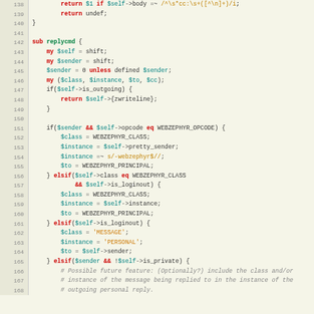[Figure (screenshot): Source code listing in Perl showing lines 138-168 of a script, with syntax highlighting on a pale yellow-green background. Lines show a replycmd subroutine with conditional logic for WebZephyr protocol handling.]